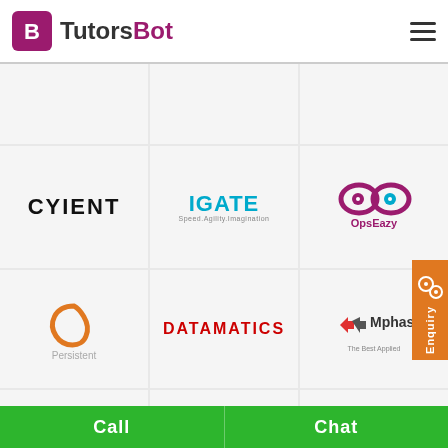[Figure (logo): TutorsBot logo with purple T13 icon and TutorsBot text]
[Figure (logo): CYIENT logo in bold black text]
[Figure (logo): IGATE logo in teal with tagline Speed.Agility.Imagination]
[Figure (logo): OpsEazy logo with purple infinity-eye icon]
[Figure (logo): Persistent logo with orange looping P icon]
[Figure (logo): DATAMATICS logo in bold red text]
[Figure (logo): Mphasis logo with arrow icon and tagline The Best Applied]
[Figure (logo): Ni Infotech logo with colorful cube/blocks icon]